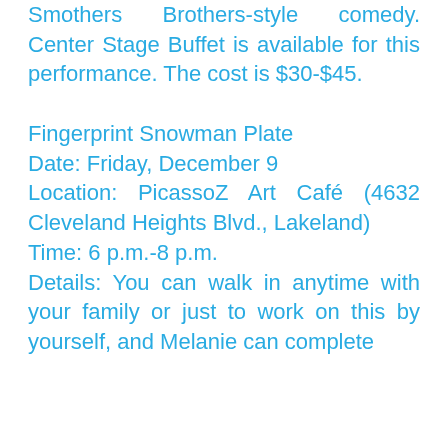Smothers Brothers-style comedy. Center Stage Buffet is available for this performance. The cost is $30-$45.
Fingerprint Snowman Plate
Date: Friday, December 9
Location: PicassoZ Art Café (4632 Cleveland Heights Blvd., Lakeland)
Time: 6 p.m.-8 p.m.
Details: You can walk in anytime with your family or just to work on this by yourself, and Melanie can complete